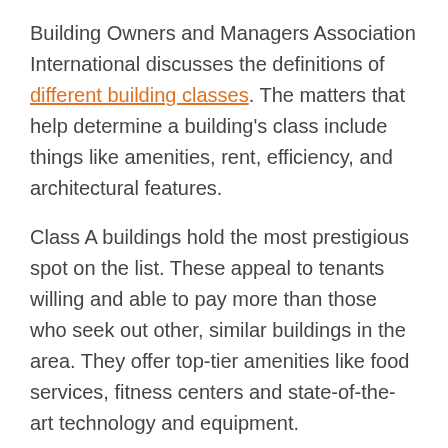Building Owners and Managers Association International discusses the definitions of different building classes. The matters that help determine a building's class include things like amenities, rent, efficiency, and architectural features.
Class A buildings hold the most prestigious spot on the list. These appeal to tenants willing and able to pay more than those who seek out other, similar buildings in the area. They offer top-tier amenities like food services, fitness centers and state-of-the-art technology and equipment.
Class B buildings
Class B buildings are sufficient but not as indulgent as Class A buildings. They often have standard amenities,